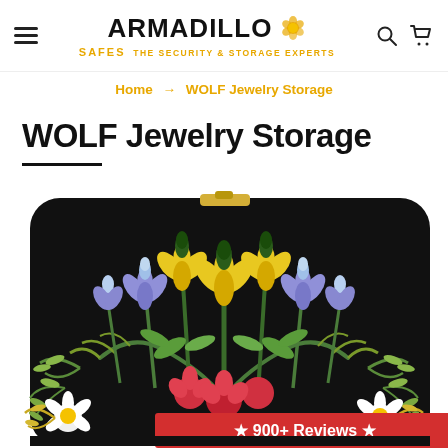Armadillo Safes — The Security & Storage Experts
Home → WOLF Jewelry Storage
WOLF Jewelry Storage
[Figure (photo): A black velvet jewelry box/case with colorful floral embroidery featuring yellow, white, blue, green, and red flowers and leaves on a dark background. A red banner at the bottom reads '★ 900+ Reviews ★'.]